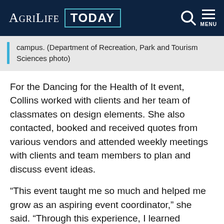AgriLife TODAY
campus. (Department of Recreation, Park and Tourism Sciences photo)
For the Dancing for the Health of It event, Collins worked with clients and her team of classmates on design elements. She also contacted, booked and received quotes from various vendors and attended weekly meetings with clients and team members to plan and discuss event ideas.
“This event taught me so much and helped me grow as an aspiring event coordinator,” she said. “Through this experience, I learned